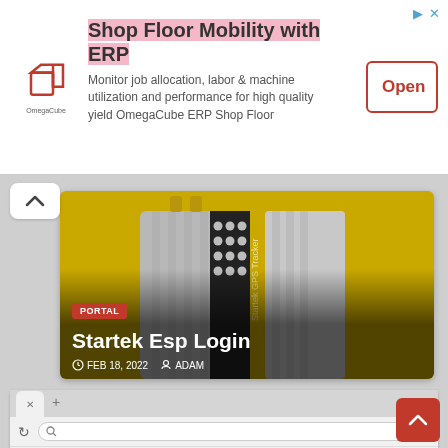[Figure (screenshot): Advertisement banner for OmegaCube ERP Shop Floor Mobility with logo, text, and Open button]
Shop Floor Mobility with ERP
Monitor job allocation, labor & machine utilization and performance for high quality yield OmegaCube ERP Shop Floor
[Figure (photo): Article card showing a GPS tracker device on yellow background with PORTAL badge, title Startek Esp Login, date FEB 18, 2022, author ADAM]
Startek Esp Login
FEB 18, 2022   ADAM
[Figure (screenshot): Browser window screenshot showing tab bar with X and + controls, and navigation bar with refresh and search icons]
[Figure (screenshot): Partial second article card with PORTAL badge visible at bottom]